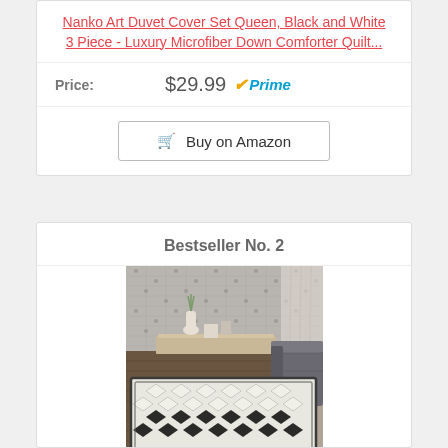Nanko Art Duvet Cover Set Queen, Black and White 3 Piece - Luxury Microfiber Down Comforter Quilt...
Price: $29.99 Prime
Buy on Amazon
Bestseller No. 2
[Figure (photo): Photo of a black and white geometric patterned area rug in a living room setting with a sofa and coffee table visible]
nuLOOM Moroccan Blythe Area...